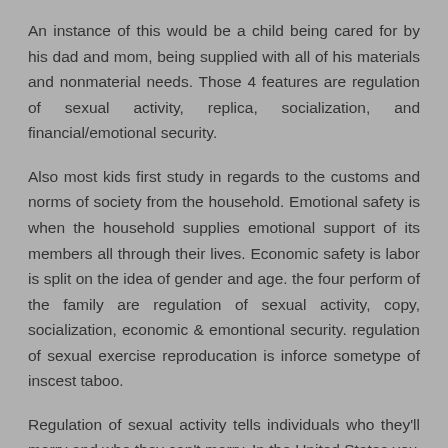An instance of this would be a child being cared for by his dad and mom, being supplied with all of his materials and nonmaterial needs. Those 4 features are regulation of sexual activity, replica, socialization, and financial/emotional security.
Also most kids first study in regards to the customs and norms of society from the household. Emotional safety is when the household supplies emotional support of its members all through their lives. Economic safety is labor is split on the idea of gender and age. the four perform of the family are regulation of sexual activity, copy, socialization, economic & emontional security. regulation of sexual exercise reproducation is inforce sometype of inscest taboo.
Regulation of sexual activity tells individuals who they'll marry and who they can't marry. In the United States you